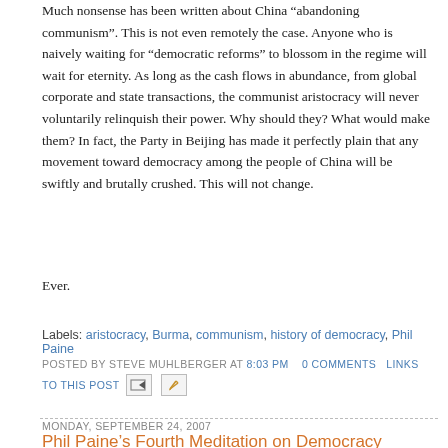Much nonsense has been written about China “abandoning communism”. This is not even remotely the case. Anyone who is naively waiting for “democratic reforms” to blossom in the regime will wait for eternity. As long as the cash flows in abundance, from global corporate and state transactions, the communist aristocracy will never voluntarily relinquish their power. Why should they? What would make them? In fact, the Party in Beijing has made it perfectly plain that any movement toward democracy among the people of China will be swiftly and brutally crushed. This will not change.
Ever.
Labels: aristocracy, Burma, communism, history of democracy, Phil Paine
POSTED BY STEVE MUHLBERGER AT 8:03 PM   0 COMMENTS  LINKS TO THIS POST
MONDAY, SEPTEMBER 24, 2007
Phil Paine’s Fourth Meditation on Democracy